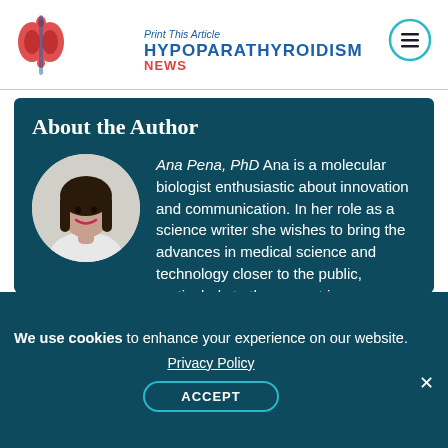Print This Article | HYPOPARATHYROIDISM NEWS
About the Author
[Figure (photo): Circular headshot of Ana Pena, a woman with long dark hair and a smile, wearing a light-colored top, against a light gray background.]
Ana Pena, PhD Ana is a molecular biologist enthusiastic about innovation and communication. In her role as a science writer she wishes to bring the advances in medical science and technology closer to the public, particularly to those most in
We use cookies to enhance your experience on our website. Privacy Policy ACCEPT